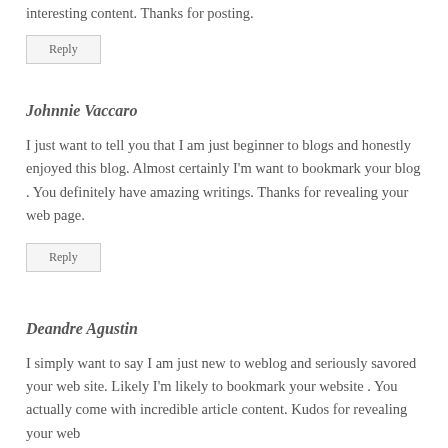interesting content. Thanks for posting.
Reply
Johnnie Vaccaro
I just want to tell you that I am just beginner to blogs and honestly enjoyed this blog. Almost certainly I'm want to bookmark your blog . You definitely have amazing writings. Thanks for revealing your web page.
Reply
Deandre Agustin
I simply want to say I am just new to weblog and seriously savored your web site. Likely I'm likely to bookmark your website . You actually come with incredible article content. Kudos for revealing your web